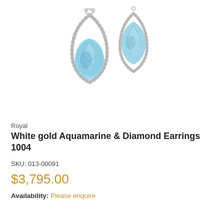[Figure (photo): Two white gold aquamarine and diamond drop earrings with pear-shaped light blue aquamarine gemstones set in diamond-encrusted teardrop frames, displayed on white background]
Royal
White gold Aquamarine & Diamond Earrings 1004
SKU: 013-00091
$3,795.00
Availability: Please enquire